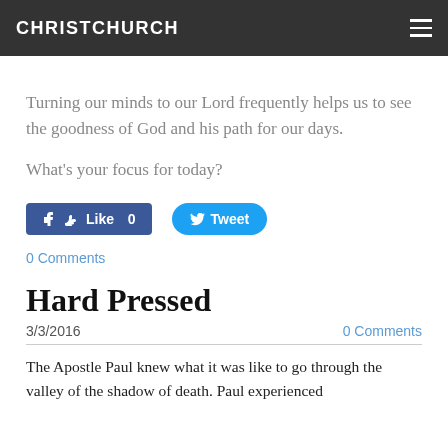CHRISTCHURCH
Turning our minds to our Lord frequently helps us to see the goodness of God and his path for our days.
What's your focus for today?
[Figure (screenshot): Social media buttons: Facebook Like (0) button and Twitter Tweet button]
0 Comments
Hard Pressed
3/3/2016
0 Comments
The Apostle Paul knew what it was like to go through the valley of the shadow of death. Paul experienced